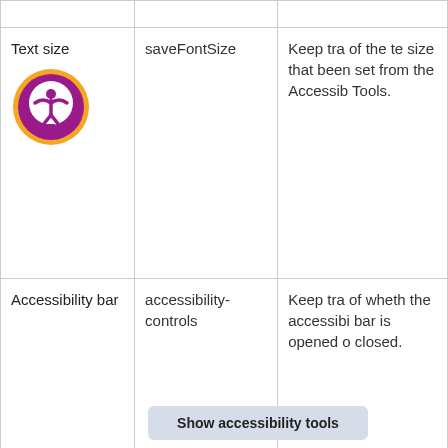|  |  |  |
| --- | --- | --- |
| Text size [icon] | saveFontSize | Keep tra of the te size that been set from the Accessib Tools. |
| Accessibility bar | accessibility-controls | Keep tra of wheth the accessibi bar is opened o closed. |
Show accessibility tools